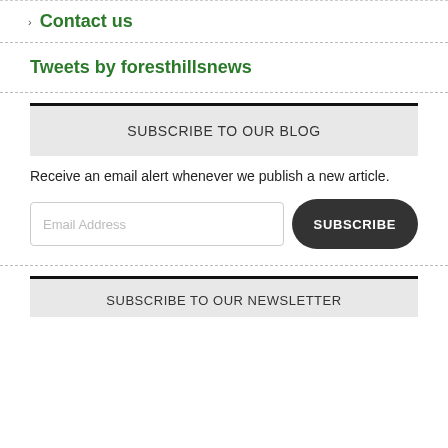Contact us
Tweets by foresthillsnews
SUBSCRIBE TO OUR BLOG
Receive an email alert whenever we publish a new article.
SUBSCRIBE TO OUR NEWSLETTER